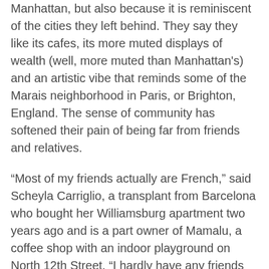Manhattan, but also because it is reminiscent of the cities they left behind. They say they like its cafes, its more muted displays of wealth (well, more muted than Manhattan's) and an artistic vibe that reminds some of the Marais neighborhood in Paris, or Brighton, England. The sense of community has softened their pain of being far from friends and relatives.
“Most of my friends actually are French,” said Scheyla Carriglio, a transplant from Barcelona who bought her Williamsburg apartment two years ago and is a part owner of Mamalu, a coffee shop with an indoor playground on North 12th Street. “I hardly have any friends who are not European.”
..When Mr. Patel longs for HobNobs biscuits or Branston Pickle relish, he heads to Marlow & Sons, a Williamsburg restaurant. When he wants to watch soccer matches, he hangs out at Spike Hill. Four sets of his British friends are moving to